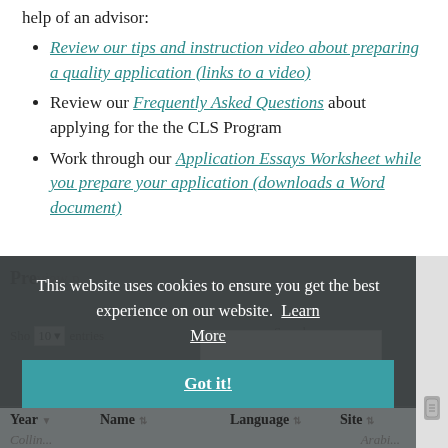help of an advisor:
Review our tips and instruction video about preparing a quality application (links to a video)
Review our Frequently Asked Questions about applying for the the CLS Program
Work through our Application Essays Worksheet while you prepare your application (downloads a Word document)
This website uses cookies to ensure you get the best experience on our website. Learn More
Got it!
Show 10 entries   Search:
| Year | Name | Language | Site |
| --- | --- | --- | --- |